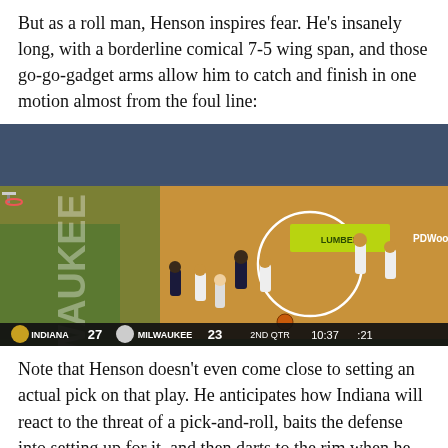But as a roll man, Henson inspires fear. He's insanely long, with a borderline comical 7-5 wing span, and those go-go-gadget arms allow him to catch and finish in one motion almost from the foul line:
[Figure (photo): NBA basketball game screenshot showing Milwaukee Bucks vs Indiana Pacers on the court at the Bradley Center. Scoreboard reads INDIANA 27, MILWAUKEE 23, 2ND QTR, 10:37, :21.]
Note that Henson doesn't even come close to setting an actual pick on that play. He anticipates how Indiana will react to the threat of a pick-and-roll, baits the defense into setting up for it, and then darts to the rim when he senses an opening — both for his cut, and for